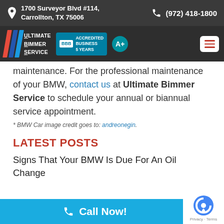1700 Surveyor Blvd #114, Carrollton, TX 75006   (972) 418-1800
[Figure (logo): Ultimate Bimmer Service logo with colored stripes and BBB Accredited Business 5 Years A+ badge and hamburger menu button]
maintenance. For the professional maintenance of your BMW, contact us at Ultimate Bimmer Service to schedule your annual or biannual service appointment.
* BMW Car image credit goes to: andreonegin.
LATEST POSTS
Signs That Your BMW Is Due For An Oil Change
Call Now!